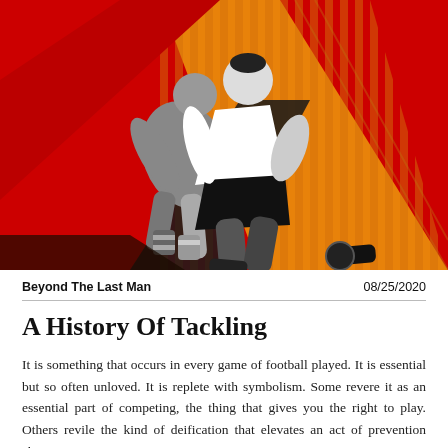[Figure (illustration): Stylized flat illustration of two football/soccer players in a tackling scene. Background has red triangular shapes and orange vertical stripe pattern. One player in white shirt and dark shorts is tackling another player rendered in grey tones. The composition is bold and graphic with strong diagonal lines.]
Beyond The Last Man
08/25/2020
A History Of Tackling
It is something that occurs in every game of football played. It is essential but so often unloved. It is replete with symbolism. Some revere it as an essential part of competing, the thing that gives you the right to play. Others revile the kind of deification that elevates an act of prevention above